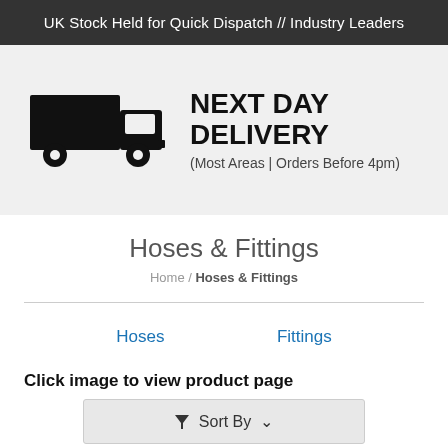UK Stock Held for Quick Dispatch // Industry Leaders
[Figure (illustration): Delivery truck icon (black silhouette) next to large bold text 'NEXT DAY DELIVERY' with subtitle '(Most Areas | Orders Before 4pm)' on a light grey background]
Hoses & Fittings
Home / Hoses & Fittings
Hoses
Fittings
Click image to view product page
Sort By